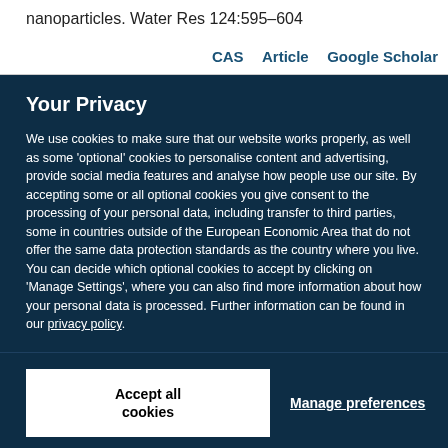nanoparticles. Water Res 124:595–604
CAS  Article  Google Scholar
Your Privacy
We use cookies to make sure that our website works properly, as well as some 'optional' cookies to personalise content and advertising, provide social media features and analyse how people use our site. By accepting some or all optional cookies you give consent to the processing of your personal data, including transfer to third parties, some in countries outside of the European Economic Area that do not offer the same data protection standards as the country where you live. You can decide which optional cookies to accept by clicking on 'Manage Settings', where you can also find more information about how your personal data is processed. Further information can be found in our privacy policy.
Accept all cookies
Manage preferences